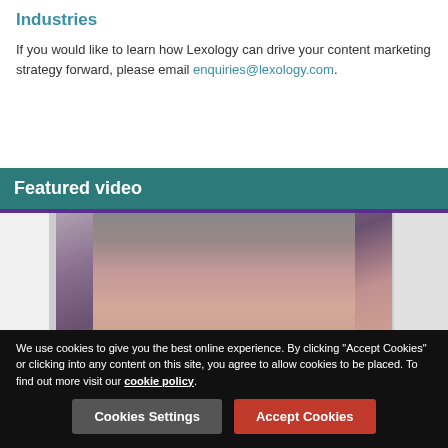Industries
If you would like to learn how Lexology can drive your content marketing strategy forward, please email enquiries@lexology.com.
Featured video
[Figure (photo): Close-up photo of a man's face used as a video thumbnail for a featured video about UAE's new data protection law.]
UAE's new data protection law: what businesses...
We use cookies to give you the best online experience. By clicking "Accept Cookies" or clicking into any content on this site, you agree to allow cookies to be placed. To find out more visit our cookie policy.